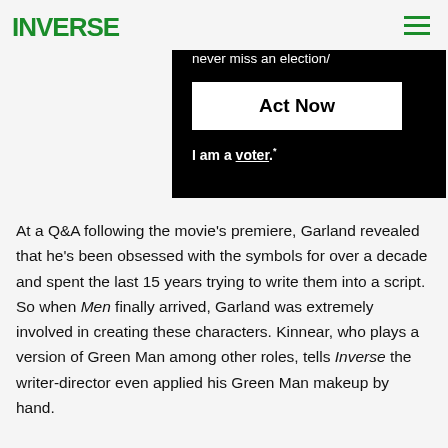INVERSE
[Figure (screenshot): Black advertisement banner showing 'status/', 'never miss an election/', an 'Act Now' button, and 'I am a voter.' text]
At a Q&A following the movie's premiere, Garland revealed that he's been obsessed with the symbols for over a decade and spent the last 15 years trying to write them into a script. So when Men finally arrived, Garland was extremely involved in creating these characters. Kinnear, who plays a version of Green Man among other roles, tells Inverse the writer-director even applied his Green Man makeup by hand.